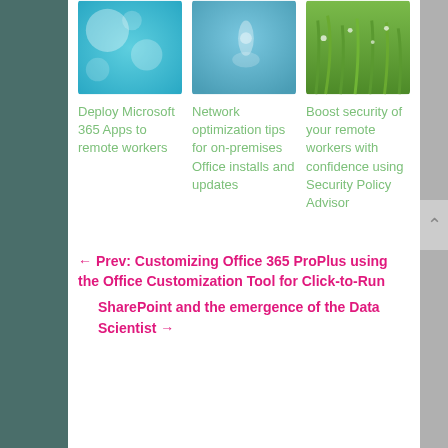[Figure (photo): Three thumbnail images in a row: first is a blue bokeh/light background, second is a blue droplet/water background, third is green grass with water droplets]
Deploy Microsoft 365 Apps to remote workers
Network optimization tips for on-premises Office installs and updates
Boost security of your remote workers with confidence using Security Policy Advisor
← Prev: Customizing Office 365 ProPlus using the Office Customization Tool for Click-to-Run
SharePoint and the emergence of the Data Scientist →